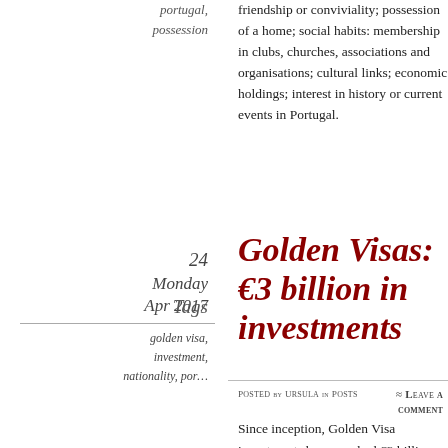friendship or conviviality; possession of a home; social habits: membership in clubs, churches, associations and organisations; cultural links; economic holdings; interest in history or current events in Portugal.
Golden Visas:  €3 billion in investments
24 Monday Apr 2017
Posted by Ursula in Posts
≈ Leave a comment
Tags
golden visa,
investment,
nationality, por…
portugal, possession
Since inception, Golden Visa investments have reached €3 billion according to data from the Foreigners and Borders Service (SEF). The programme authorises non-EU citizens entry, residence and eventual nationality in Portugal in exchange for large financial investments or creation of